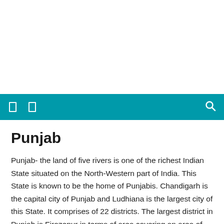[Figure (screenshot): White top area representing a webpage header/banner region]
Navigation bar with teal background, two document icons on left, search icon on right
Punjab
Punjab- the land of five rivers is one of the richest Indian State situated on the North-Western part of India. This State is known to be the home of Punjabis. Chandigarh is the capital city of Punjab and Ludhiana is the largest city of this State. It comprises of 22 districts. The largest district in Punjab is Firozepur in terms of area covering an area of 5865 sq km and Nawan Shehar is the smallest district in the state of Punjab with an area of 1550 sq km. Punjab also has